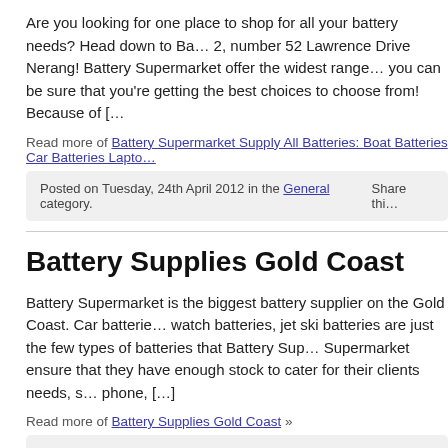Are you looking for one place to shop for all your battery needs? Head down to Ba… 2, number 52 Lawrence Drive Nerang! Battery Supermarket offer the widest range… you can be sure that you're getting the best choices to choose from! Because of […
Read more of Battery Supermarket Supply All Batteries: Boat Batteries Car Batteries Lapto…
Posted on Tuesday, 24th April 2012 in the General category.    Share thi…
Battery Supplies Gold Coast
Battery Supermarket is the biggest battery supplier on the Gold Coast. Car batterie… watch batteries, jet ski batteries are just the few types of batteries that Battery Sup… Supermarket ensure that they have enough stock to cater for their clients needs, s… phone, […]
Read more of Battery Supplies Gold Coast »
Posted on Tuesday, 28th February 2012 in the General category.    Share thi…